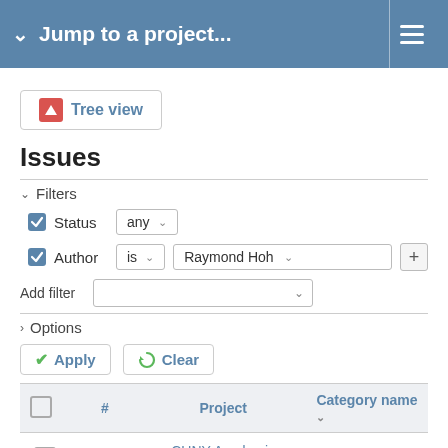Jump to a project...
[Figure (screenshot): Tree view button with red icon]
Issues
Filters
Status  any
Author  is  Raymond Hoh
Add filter
Options
Apply   Clear
|  | # | Project | Category name |
| --- | --- | --- | --- |
|  | 4985 | CUNY Academic Commons | ZenDesk |